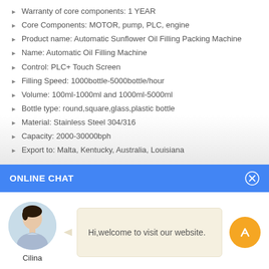Warranty of core components: 1 YEAR
Core Components: MOTOR, pump, PLC, engine
Product name: Automatic Sunflower Oil Filling Packing Machine
Name: Automatic Oil Filling Machine
Control: PLC+ Touch Screen
Filling Speed: 1000bottle-5000bottle/hour
Volume: 100ml-1000ml and 1000ml-5000ml
Bottle type: round,square,glass,plastic bottle
Material: Stainless Steel 304/316
Capacity: 2000-30000bph
Export to: Malta, Kentucky, Australia, Louisiana
ONLINE CHAT
Hi,welcome to visit our website.
Cilina